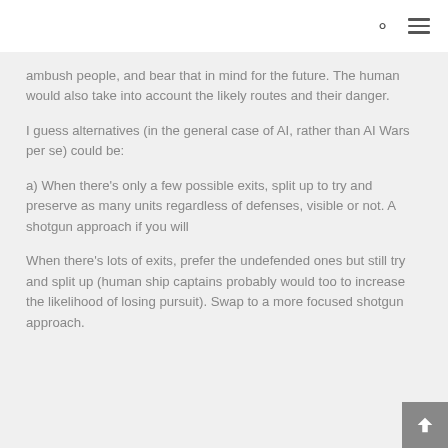ambush people, and bear that in mind for the future. The human would also take into account the likely routes and their danger.
I guess alternatives (in the general case of AI, rather than AI Wars per se) could be:
a) When there's only a few possible exits, split up to try and preserve as many units regardless of defenses, visible or not. A shotgun approach if you will
When there's lots of exits, prefer the undefended ones but still try and split up (human ship captains probably would too to increase the likelihood of losing pursuit). Swap to a more focused shotgun approach.